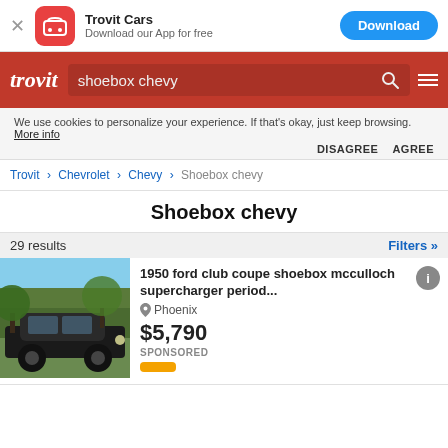Trovit Cars – Download our App for free – Download
[Figure (screenshot): Trovit Cars app banner with red app icon, app name, tagline, and blue Download button]
[Figure (screenshot): Trovit red navigation bar with logo, search box containing 'shoebox chevy', search icon, and hamburger menu]
We use cookies to personalize your experience. If that's okay, just keep browsing. More info
DISAGREE   AGREE
Trovit > Chevrolet > Chevy > Shoebox chevy
Shoebox chevy
29 results
Filters »
[Figure (photo): Photo of a classic black 1950s car (shoebox style) parked outdoors among trees with blue sky]
1950 ford club coupe shoebox mcculloch supercharger period...
Phoenix
$5,790
SPONSORED